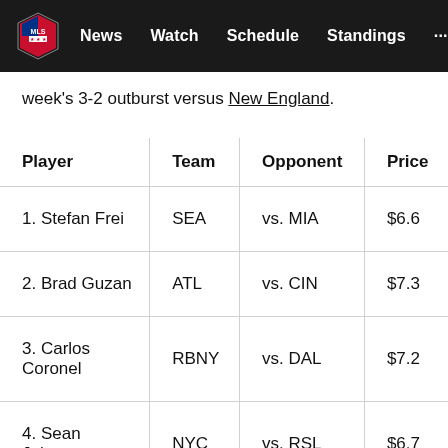MLS — News  Watch  Schedule  Standings  ...
week's 3-2 outburst versus New England.
| Player | Team | Opponent | Price |
| --- | --- | --- | --- |
| 1. Stefan Frei | SEA | vs. MIA | $6.6 |
| 2. Brad Guzan | ATL | vs. CIN | $7.3 |
| 3. Carlos Coronel | RBNY | vs. DAL | $7.2 |
| 4. Sean Johnson | NYC | vs. RSL | $6.7 |